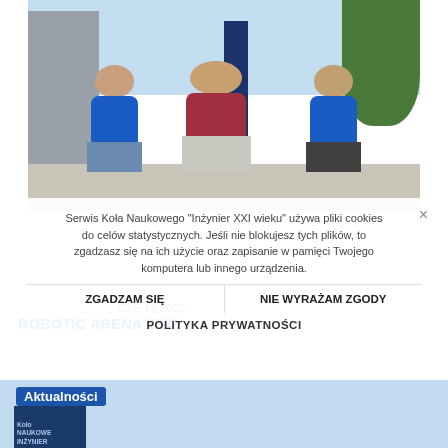[Figure (photo): Three young men standing outdoors in front of a Robotic Arena banner. Two are wearing blue team shirts/lanyards, one in a red shirt in the middle. Building entrance and trees visible in background.]
Serwis Koła Naukowego "Inżynier XXI wieku" używa pliki cookies do celów statystycznych. Jeśli nie blokujesz tych plików, to zgadzasz się na ich użycie oraz zapisanie w pamięci Twojego komputera lub innego urządzenia.
ZGADZAM SIĘ
NIE WYRAŻAM ZGODY
POLITYKA PRYWATNOŚCI
CZE 19 2022
ROBOTIC ARENA'2022
Aktualności
[Figure (photo): Thumbnail image of a Koło Naukowe related content, partially visible at bottom left.]